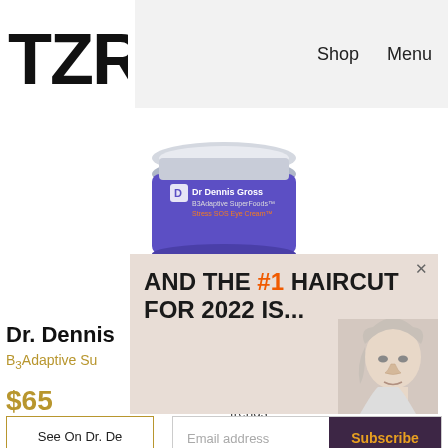TZR  Shop  Menu
[Figure (photo): Dr Dennis Gross B3 Adaptive SuperFoods Stress SOS Eye Cream product jar with silver lid on white background]
[Figure (photo): Overlay banner with text 'AND THE #1 HAIRCUT FOR 2022 IS...' with image of blonde woman on right side]
Dr. Dennis
B3Adaptive Su
$65
Join The List
Sign up for TZR's exclusive email list to uncover this season's top trends
See On Dr. De
Email address  Subscribe